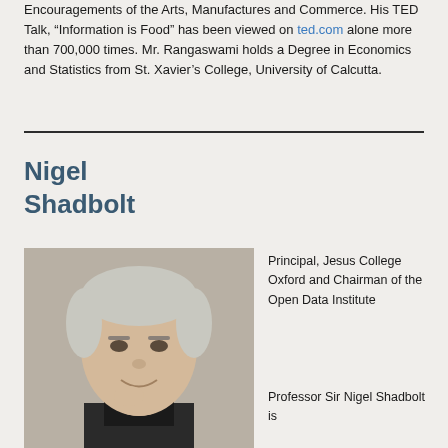Encouragements of the Arts, Manufactures and Commerce. His TED Talk, “Information is Food” has been viewed on ted.com alone more than 700,000 times. Mr. Rangaswami holds a Degree in Economics and Statistics from St. Xavier’s College, University of Calcutta.
Nigel Shadbolt
[Figure (photo): Portrait photo of Nigel Shadbolt, a middle-aged man with short grey hair, wearing a dark suit, smiling slightly against a light background.]
Principal, Jesus College Oxford and Chairman of the Open Data Institute
Professor Sir Nigel Shadbolt is